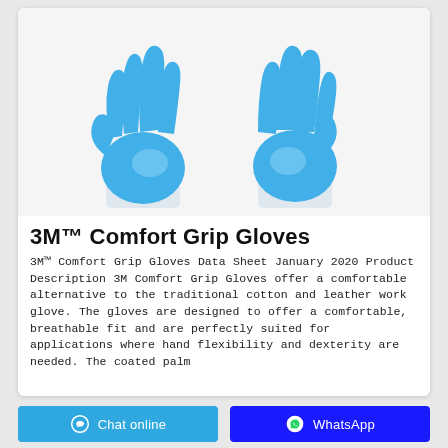[Figure (photo): Two blue nitrile/comfort grip gloves shown palm-facing, side by side on white background]
3M™ Comfort Grip Gloves
3M™ Comfort Grip Gloves Data Sheet January 2020 Product Description 3M Comfort Grip Gloves offer a comfortable alternative to the traditional cotton and leather work glove. The gloves are designed to offer a comfortable, breathable fit and are perfectly suited for applications where hand flexibility and dexterity are needed. The coated palm
Chat online   WhatsApp